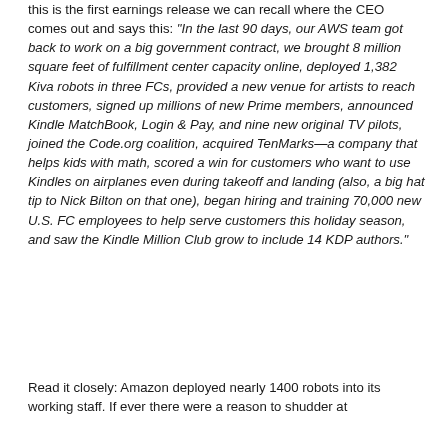this is the first earnings release we can recall where the CEO comes out and says this: "In the last 90 days, our AWS team got back to work on a big government contract, we brought 8 million square feet of fulfillment center capacity online, deployed 1,382 Kiva robots in three FCs, provided a new venue for artists to reach customers, signed up millions of new Prime members, announced Kindle MatchBook, Login & Pay, and nine new original TV pilots, joined the Code.org coalition, acquired TenMarks—a company that helps kids with math, scored a win for customers who want to use Kindles on airplanes even during takeoff and landing (also, a big hat tip to Nick Bilton on that one), began hiring and training 70,000 new U.S. FC employees to help serve customers this holiday season, and saw the Kindle Million Club grow to include 14 KDP authors."
Read it closely: Amazon deployed nearly 1400 robots into its working staff. If ever there were a reason to shudder at